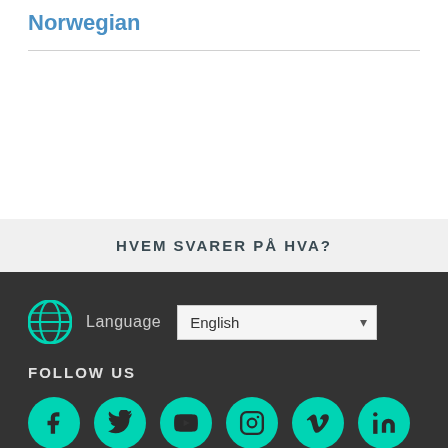Norwegian
HVEM SVARER PÅ HVA?
Language  English
FOLLOW US
[Figure (illustration): Row of social media icons: Facebook, Twitter, YouTube, Instagram, Vimeo, LinkedIn — all on teal circular backgrounds]